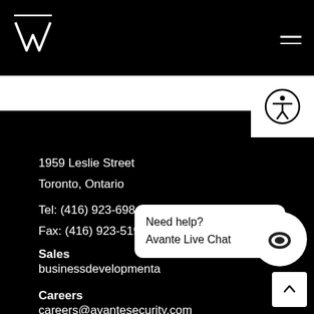[Figure (logo): Avante Security logo — stylized X/M letterform in white on black, with horizontal line above]
Navigation header with logo and hamburger menu
1959 Leslie Street
Toronto, Ontario
Tel: (416) 923-6984
Fax: (416) 923-5198
Sales
businessdevelopmenta…
Careers
careers@avantesecurity.com
Need help?
Avante Live Chat